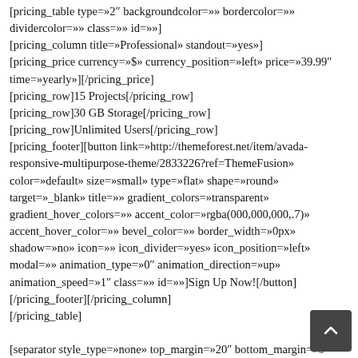[pricing_table type=»2″ backgroundcolor=»» bordercolor=»» dividercolor=»» class=»» id=»»]
[pricing_column title=»Professional» standout=»yes»]
[pricing_price currency=»$» currency_position=»left» price=»39.99″ time=»yearly»][/pricing_price]
[pricing_row]15 Projects[/pricing_row]
[pricing_row]30 GB Storage[/pricing_row]
[pricing_row]Unlimited Users[/pricing_row]
[pricing_footer][button link=»http://themeforest.net/item/avada-responsive-multipurpose-theme/2833226?ref=ThemeFusion» color=»default» size=»small» type=»flat» shape=»round» target=»_blank» title=»» gradient_colors=»transparent» gradient_hover_colors=»» accent_color=»rgba(000,000,000,.7)» accent_hover_color=»» bevel_color=»» border_width=»0px» shadow=»no» icon=»» icon_divider=»yes» icon_position=»left» modal=»» animation_type=»0″ animation_direction=»up» animation_speed=»1″ class=»» id=»»]Sign Up Now![/button]
[/pricing_footer][/pricing_column]
[/pricing_table]

[separator style_type=»none» top_margin=»20″ bottom_margin=»0″ sep_color=»» icon=»» width=»» class=»» id=»»]